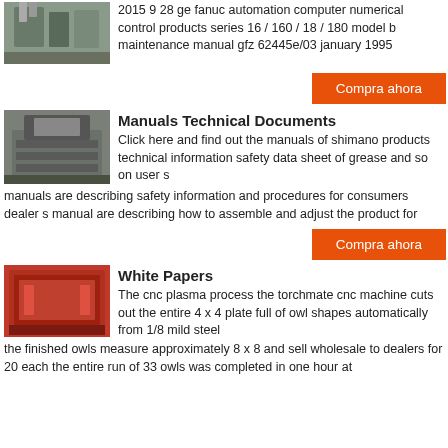[Figure (photo): Industrial machinery or equipment photo, outdoor setting with pipes/ducts]
2015 9 28 ge fanuc automation computer numerical control products series 16 / 160 / 18 / 180 model b maintenance manual gfz 62445e/03 january 1995
[Figure (other): Orange button - Compra ahora]
[Figure (photo): Industrial crusher or mill equipment, gray metal, outdoor]
Manuals Technical Documents
Click here and find out the manuals of shimano products technical information safety data sheet of grease and so on user s manuals are describing safety information and procedures for consumers dealer s manual are describing how to assemble and adjust the product for
[Figure (other): Orange button - Compra ahora]
[Figure (photo): Industrial metal plate or red equipment on a pallet]
White Papers
The cnc plasma process the torchmate cnc machine cuts out the entire 4 x 4 plate full of owl shapes automatically from 1/8 mild steel the finished owls measure approximately 8 x 8 and sell wholesale to dealers for 20 each the entire run of 33 owls was completed in one hour at